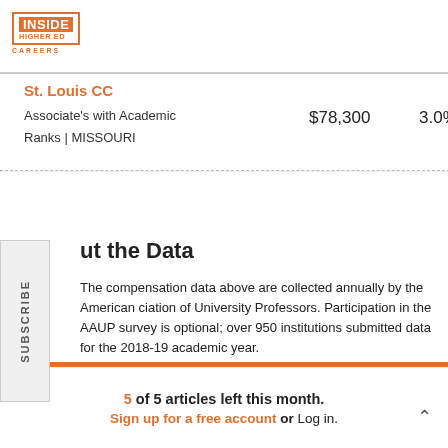[Figure (logo): Inside Higher Ed Careers logo — orange box with white INSIDE text, orange HIGHER ED and CAREERS text]
St. Louis CC
Associate's with Academic Ranks | MISSOURI    $78,300    3.0%
About the Data
The compensation data above are collected annually by the American Association of University Professors. Participation in the AAUP survey is optional; over 950 institutions submitted data for the 2018-19 academic year.
The salary and compensation data cover instructional and research staff members who work full time and whose primary role (more than
5 of 5 articles left this month.
Sign up for a free account or Log in.